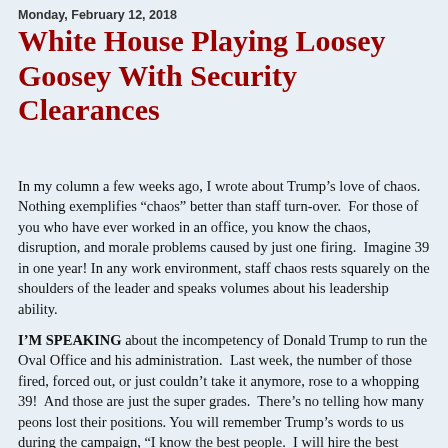Monday, February 12, 2018
White House Playing Loosey Goosey With Security Clearances
In my column a few weeks ago, I wrote about Trump’s love of chaos.  Nothing exemplifies “chaos” better than staff turn-over.  For those of you who have ever worked in an office, you know the chaos, disruption, and morale problems caused by just one firing.  Imagine 39 in one year! In any work environment, staff chaos rests squarely on the shoulders of the leader and speaks volumes about his leadership ability.
I’M SPEAKING about the incompetency of Donald Trump to run the Oval Office and his administration.  Last week, the number of those fired, forced out, or just couldn’t take it anymore, rose to a whopping 39!  And those are just the super grades.  There’s no telling how many peons lost their positions. You will remember Trump’s words to us during the campaign, “I know the best people.  I will hire the best people.”  Based on my knowledge of the quality people hired by past presidents, those words were